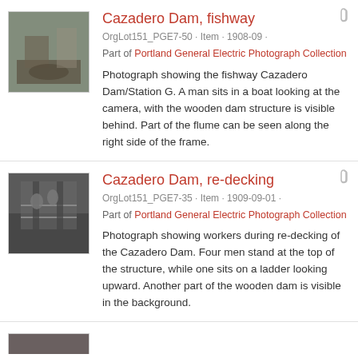[Figure (photo): Black and white thumbnail photograph of Cazadero Dam fishway showing a man in a boat]
Cazadero Dam, fishway
OrgLot151_PGE7-50 · Item · 1908-09 ·
Part of Portland General Electric Photograph Collection
Photograph showing the fishway Cazadero Dam/Station G. A man sits in a boat looking at the camera, with the wooden dam structure is visible behind. Part of the flume can be seen along the right side of the frame.
[Figure (photo): Black and white thumbnail photograph of Cazadero Dam re-decking showing workers on the structure]
Cazadero Dam, re-decking
OrgLot151_PGE7-35 · Item · 1909-09-01 ·
Part of Portland General Electric Photograph Collection
Photograph showing workers during re-decking of the Cazadero Dam. Four men stand at the top of the structure, while one sits on a ladder looking upward. Another part of the wooden dam is visible in the background.